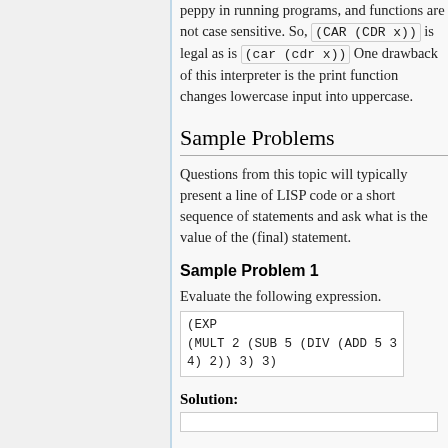peppy in running programs, and functions are not case sensitive. So, (CAR (CDR x)) is legal as is (car (cdr x)) One drawback of this interpreter is the print function changes lowercase input into uppercase.
Sample Problems
Questions from this topic will typically present a line of LISP code or a short sequence of statements and ask what is the value of the (final) statement.
Sample Problem 1
Evaluate the following expression. (EXP (MULT 2 (SUB 5 (DIV (ADD 5 3 4) 2)) 3) 3)
Solution: